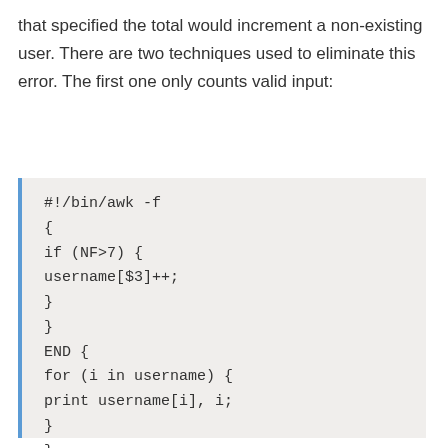that specified the total would increment a non-existing user. There are two techniques used to eliminate this error. The first one only counts valid input:
#!/bin/awk -f
{
if (NF>7) {
username[$3]++;
}
}
END {
for (i in username) {
print username[i], i;
}
}